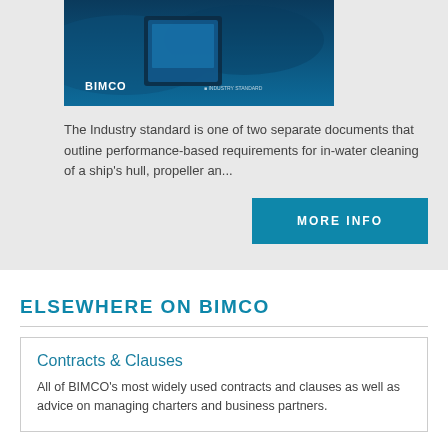[Figure (photo): BIMCO document cover image with blue underwater/ocean theme and BIMCO logo]
The Industry standard is one of two separate documents that outline performance-based requirements for in-water cleaning of a ship's hull, propeller an...
MORE INFO
ELSEWHERE ON BIMCO
Contracts & Clauses
All of BIMCO's most widely used contracts and clauses as well as advice on managing charters and business partners.